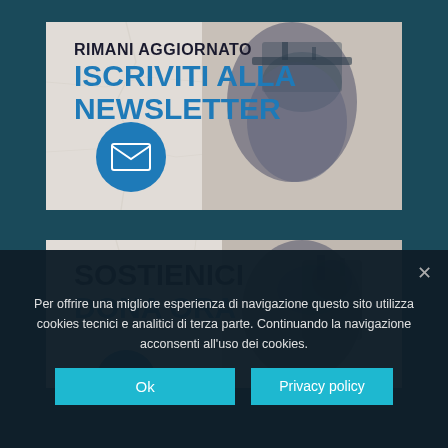[Figure (infographic): Newsletter signup banner with cracked wall background, text 'RIMANI AGGIORNATO / ISCRIVITI ALLA NEWSLETTER', blue circular email icon, and double-exposure photo of a person and a ship]
[Figure (infographic): Donation banner with cracked wall background, text 'SOSTIENICI / DONA ORA', blue circular icon, and double-exposure photo of a person]
Per offrire una migliore esperienza di navigazione questo sito utilizza cookies tecnici e analitici di terza parte. Continuando la navigazione acconsenti all'uso dei cookies.